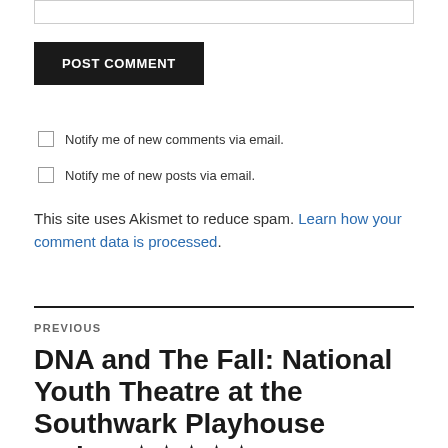[input box]
POST COMMENT
Notify me of new comments via email.
Notify me of new posts via email.
This site uses Akismet to reduce spam. Learn how your comment data is processed.
PREVIOUS
DNA and The Fall: National Youth Theatre at the Southwark Playhouse review ★★★★★